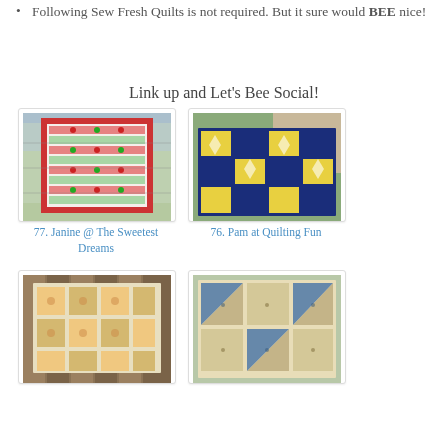Following Sew Fresh Quilts is not required. But it sure would BEE nice!
Link up and Let's Bee Social!
[Figure (photo): Photo of a red and white quilt with patchwork blocks hanging on a fence outdoors]
77. Janine @ The Sweetest Dreams
[Figure (photo): Photo of a blue, white, and yellow star-pattern quilt draped over a chair outdoors]
76. Pam at Quilting Fun
[Figure (photo): Photo of a light-colored patchwork quilt hanging on a wooden fence]
[Figure (photo): Photo of a blue and tan pinwheel/square patchwork quilt]